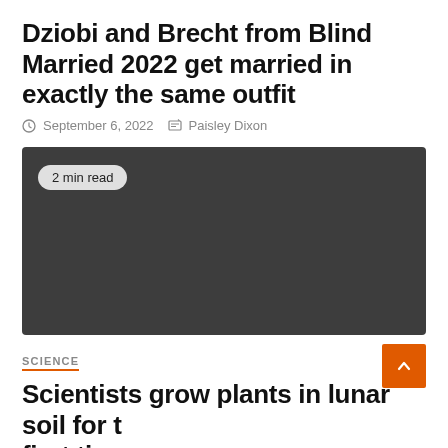Dziobi and Brecht from Blind Married 2022 get married in exactly the same outfit
September 6, 2022  Paisley Dixon
[Figure (photo): Dark placeholder image with a '2 min read' badge in the top-left corner]
SCIENCE
Scientists grow plants in lunar soil for the first time
September 6, 2022  Helen Heron